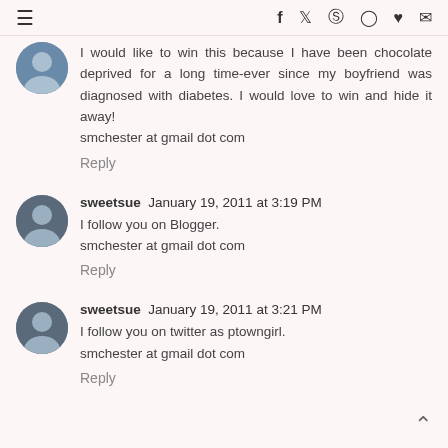≡  f  🐦  ⓟ  ◯  ♥  ✉
I would like to win this because I have been chocolate deprived for a long time-ever since my boyfriend was diagnosed with diabetes. I would love to win and hide it away!
smchester at gmail dot com
Reply
sweetsue  January 19, 2011 at 3:19 PM
I follow you on Blogger.
smchester at gmail dot com
Reply
sweetsue  January 19, 2011 at 3:21 PM
I follow you on twitter as ptowngirl.
smchester at gmail dot com
Reply